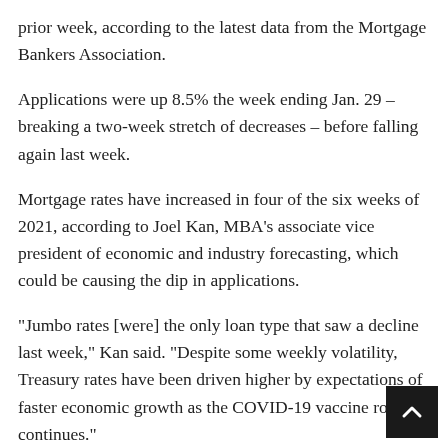prior week, according to the latest data from the Mortgage Bankers Association.
Applications were up 8.5% the week ending Jan. 29 – breaking a two-week stretch of decreases – before falling again last week.
Mortgage rates have increased in four of the six weeks of 2021, according to Joel Kan, MBA's associate vice president of economic and industry forecasting, which could be causing the dip in applications.
“Jumbo rates [were] the only loan type that saw a decline last week,” Kan said. “Despite some weekly volatility, Treasury rates have been driven higher by expectations of faster economic growth as the COVID-19 vaccine rollout continues.”
The refinance index decreased 4% from the previous week but was still 46% higher year-over-year. The seasonally adjusted